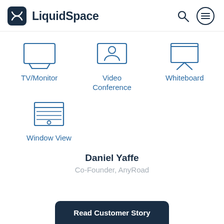LiquidSpace
[Figure (infographic): TV/Monitor icon - outline of a monitor/screen on a stand]
TV/Monitor
[Figure (infographic): Video Conference icon - outline of a person on a screen]
Video Conference
[Figure (infographic): Whiteboard icon - outline of a board on a tripod stand]
Whiteboard
[Figure (infographic): Window View icon - outline of a window with blinds]
Window View
Daniel Yaffe
Co-Founder, AnyRoad
Read Customer Story